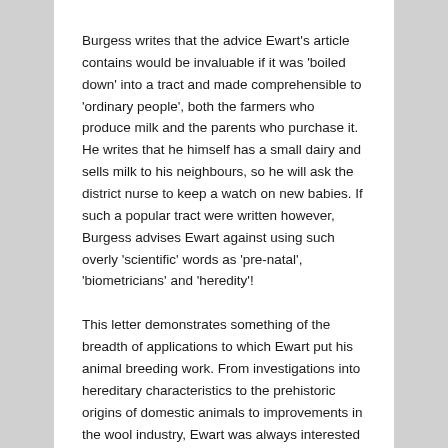Burgess writes that the advice Ewart's article contains would be invaluable if it was 'boiled down' into a tract and made comprehensible to 'ordinary people', both the farmers who produce milk and the parents who purchase it. He writes that he himself has a small dairy and sells milk to his neighbours, so he will ask the district nurse to keep a watch on new babies. If such a popular tract were written however, Burgess advises Ewart against using such overly 'scientific' words as 'pre-natal', 'biometricians' and 'heredity'!
This letter demonstrates something of the breadth of applications to which Ewart put his animal breeding work. From investigations into hereditary characteristics to the prehistoric origins of domestic animals to improvements in the wool industry, Ewart was always interested in the wider applications of the natural sciences. The relationship between 'pure' biological science, its commercial applications and its implications for human health is something which endures to the present day.